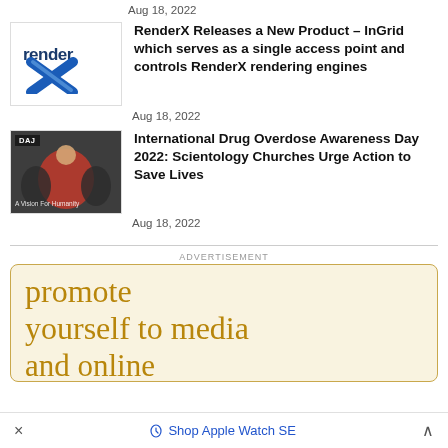Aug 18, 2022
[Figure (logo): RenderX logo with stylized blue X]
RenderX Releases a New Product – InGrid which serves as a single access point and controls RenderX rendering engines
Aug 18, 2022
[Figure (photo): International Drug Overdose Awareness Day 2022 thumbnail showing a woman in red shirt]
International Drug Overdose Awareness Day 2022: Scientology Churches Urge Action to Save Lives
Aug 18, 2022
ADVERTISEMENT
[Figure (other): Advertisement banner with text 'promote yourself to media and online' in gold serif font on cream background with gold border]
× Shop Apple Watch SE ^